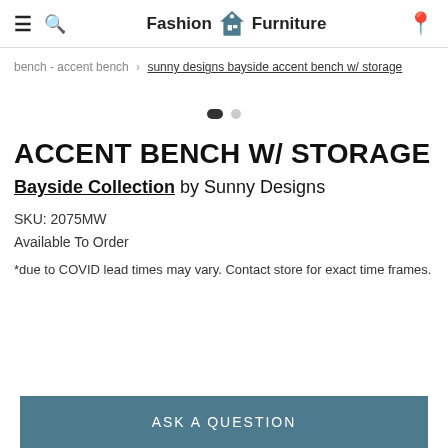Fashion Furniture
bench - accent bench › sunny designs bayside accent bench w/ storage
[Figure (other): Carousel navigation dots — one dark filled dot and one light grey dot indicating image slider position]
ACCENT BENCH W/ STORAGE
Bayside Collection by Sunny Designs
SKU: 2075MW
Available To Order
*due to COVID lead times may vary. Contact store for exact time frames.
ASK A QUESTION